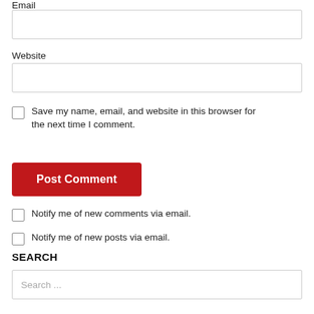Email
Website
Save my name, email, and website in this browser for the next time I comment.
Post Comment
Notify me of new comments via email.
Notify me of new posts via email.
SEARCH
Search ...